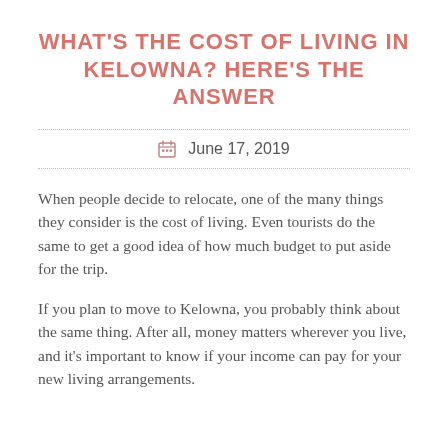WHAT'S THE COST OF LIVING IN KELOWNA? HERE'S THE ANSWER
June 17, 2019
When people decide to relocate, one of the many things they consider is the cost of living. Even tourists do the same to get a good idea of how much budget to put aside for the trip.
If you plan to move to Kelowna, you probably think about the same thing. After all, money matters wherever you live, and it's important to know if your income can pay for your new living arrangements.